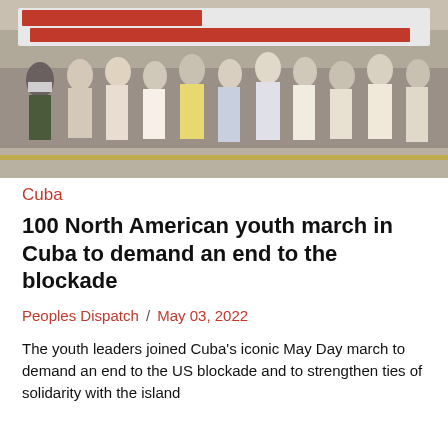[Figure (photo): Crowd of youth marching with a large red and white banner reading 'ROMPER EL... ASAMBLEA INTERNACIONAL DE LOS PUEBLOS - AMERICA DEL NORTE' in the background.]
Cuba
100 North American youth march in Cuba to demand an end to the blockade
Peoples Dispatch / May 03, 2022
The youth leaders joined Cuba's iconic May Day march to demand an end to the US blockade and to strengthen ties of solidarity with the island
[Figure (photo): Protesters holding yellow signs reading 'WE SAY NO WAR', 'DISBAND', 'DISBAND NATO', 'S. WAR ACHINE:', 'AL THREAT' behind fence bars.]